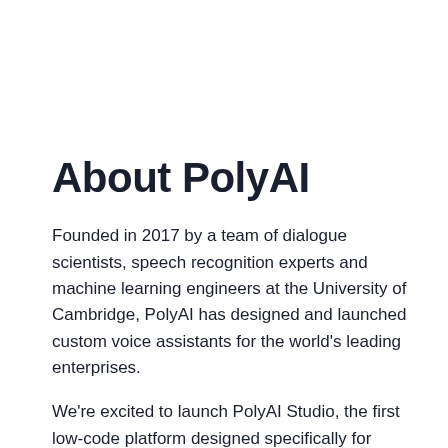About PolyAI
Founded in 2017 by a team of dialogue scientists, speech recognition experts and machine learning engineers at the University of Cambridge, PolyAI has designed and launched custom voice assistants for the world's leading enterprises.
We're excited to launch PolyAI Studio, the first low-code platform designed specifically for launching natural language voice assistants over the phone.